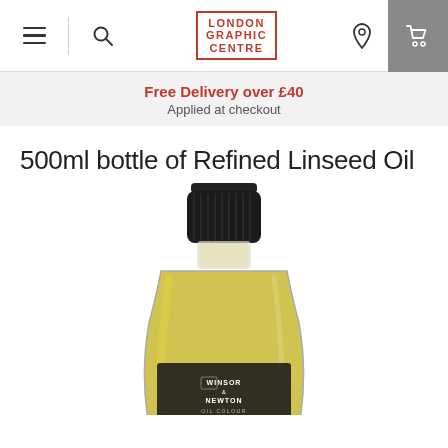London Graphic Centre – navigation header with hamburger menu, search, logo, location and cart icons
Free Delivery over £40
Applied at checkout
500ml bottle of Refined Linseed Oil
[Figure (photo): A Winsor & Newton Oil Colour Refined Linseed Oil 500ml bottle with black screw cap and golden-yellow oil inside, label reads: REFINED LINSEED OIL / HUILE DE LIN RAFFINÉE / GERAFFINEERDE LIJNOLIE]